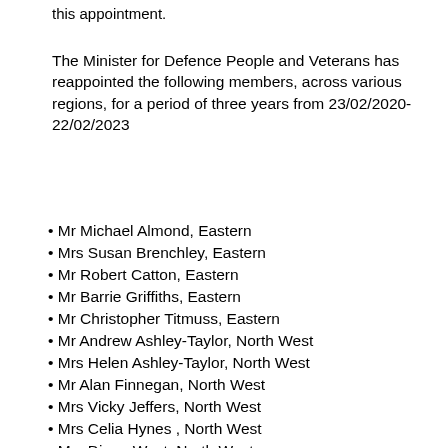this appointment.
The Minister for Defence People and Veterans has reappointed the following members, across various regions, for a period of three years from 23/02/2020-22/02/2023
Mr Michael Almond, Eastern
Mrs Susan Brenchley, Eastern
Mr Robert Catton, Eastern
Mr Barrie Griffiths, Eastern
Mr Christopher Titmuss, Eastern
Mr Andrew Ashley-Taylor, North West
Mrs Helen Ashley-Taylor, North West
Mr Alan Finnegan, North West
Mrs Vicky Jeffers, North West
Mrs Celia Hynes , North West
Mrs Diane West, North West
Mr Richard Hurwood, East Midlands
Mr Stavros Melides, East Midlands
Mr David Taylor, East Midlands
Mr James Wright, East Midlands
Mr ... Smith, North East